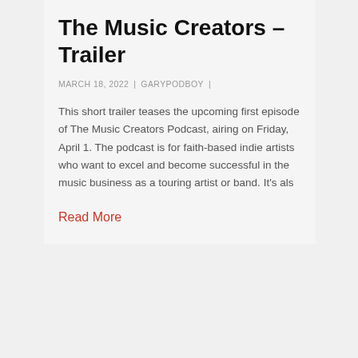The Music Creators – Trailer
MARCH 18, 2022  |  GARYPODBOY  |
This short trailer teases the upcoming first episode of The Music Creators Podcast, airing on Friday, April 1. The podcast is for faith-based indie artists who want to excel and become successful in the music business as a touring artist or band. It's als
Read More